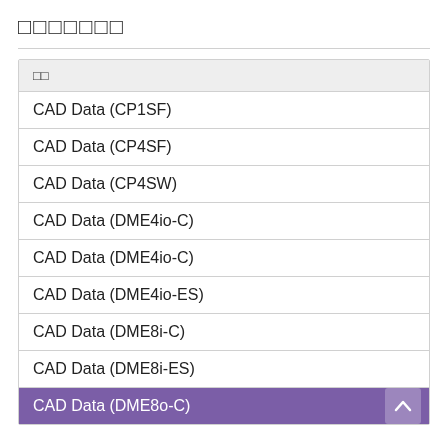□□□□□□□
| □□ |
| --- |
| CAD Data (CP1SF) |
| CAD Data (CP4SF) |
| CAD Data (CP4SW) |
| CAD Data (DME4io-C) |
| CAD Data (DME4io-C) |
| CAD Data (DME4io-ES) |
| CAD Data (DME8i-C) |
| CAD Data (DME8i-ES) |
| CAD Data (DME8o-C) |